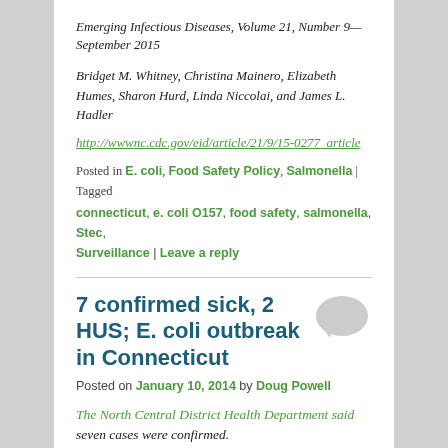Emerging Infectious Diseases, Volume 21, Number 9—September 2015
Bridget M. Whitney, Christina Mainero, Elizabeth Humes, Sharon Hurd, Linda Niccolai, and James L. Hadler
http://wwwnc.cdc.gov/eid/article/21/9/15-0277_article
Posted in E. coli, Food Safety Policy, Salmonella | Tagged connecticut, e. coli O157, food safety, salmonella, Stec, Surveillance | Leave a reply
7 confirmed sick, 2 HUS; E. coli outbreak in Connecticut
Posted on January 10, 2014 by Doug Powell
The North Central District Health Department said seven cases were confirmed. All of them required the patients to be hospitalized, according to the department.